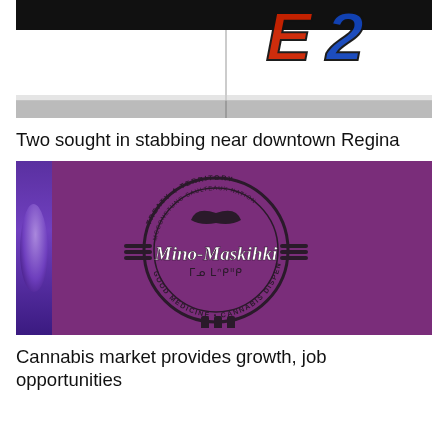[Figure (photo): Close-up of the side of a white police vehicle with partial red and blue lettering visible at the top right.]
Two sought in stabbing near downtown Regina
[Figure (photo): Photograph of a purple background featuring the Mino-Maskihki cannabis dispensary logo. The circular logo reads 'TREATY 4 TERRITORY · MCCONETUNG SAULTEAUX NATION' around the top, 'Mino-Maskihki' in stylized script, Cree syllabics below, and 'GOOD MEDICINE · CANNABIS DISPENSARY ·' around the bottom.]
Cannabis market provides growth, job opportunities